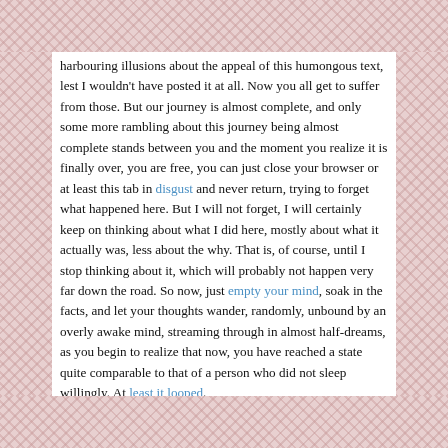harbouring illusions about the appeal of this humongous text, lest I wouldn't have posted it at all. Now you all get to suffer from those. But our journey is almost complete, and only some more rambling about this journey being almost complete stands between you and the moment you realize it is finally over, you are free, you can just close your browser or at least this tab in disgust and never return, trying to forget what happened here. But I will not forget, I will certainly keep on thinking about what I did here, mostly about what it actually was, less about the why. That is, of course, until I stop thinking about it, which will probably not happen very far down the road. So now, just empty your mind, soak in the facts, and let your thoughts wander, randomly, unbound by an overly awake mind, streaming through in almost half-dreams, as you begin to realize that now, you have reached a state quite comparable to that of a person who did not sleep willingly. At least it looped.
This text (including links and link descriptions, the html version was used for counting, thus, some formatting words may also have been counted)  contains 53244